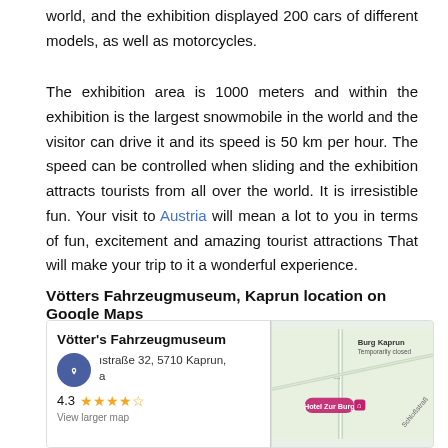world, and the exhibition displayed 200 cars of different models, as well as motorcycles.
The exhibition area is 1000 meters and within the exhibition is the largest snowmobile in the world and the visitor can drive it and its speed is 50 km per hour. The speed can be controlled when sliding and the exhibition attracts tourists from all over the world. It is irresistible fun. Your visit to Austria will mean a lot to you in terms of fun, excitement and amazing tourist attractions That will make your trip to it a wonderful experience.
Vötters Fahrzeugmuseum, Kaprun location on Google Maps
[Figure (map): Google Maps screenshot showing Vötter's Fahrzeugmuseum location in Kaprun, Austria. The map card shows the museum name, address (Istraße 32, 5710 Kaprun), a rating of 4.3 stars, and a Google logo. The map shows Burg Kaprun (Temporarily closed), Hotel Zur Burg, and Schloßstraße road label.]